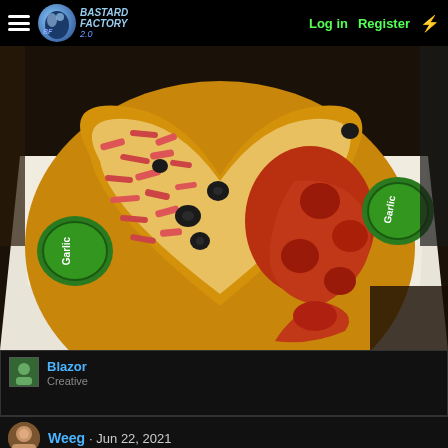Bastard Factory 2.0 — Log in | Register
[Figure (photo): A heart-shaped pizza with two halves: one side with bacon/ham and black olives, the other with pepperoni. Two green Garlic dipping sauce containers are visible in the corners of the white pizza box.]
Blazor — Creative
Weeg · Jun 22, 2021
[Figure (photo): Bottom of page showing a dark partially visible image thumbnail.]